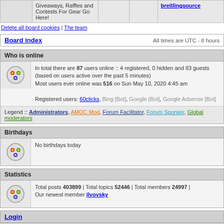| Giveaways, Raffles and Contests For Gear Go Here! |  |  | breitlingsource |
Delete all board cookies | The team
Board index — All times are UTC - 8 hours
Who is online
In total there are 87 users online :: 4 registered, 0 hidden and 83 guests (based on users active over the past 5 minutes) Most users ever online was 516 on Sun May 10, 2020 4:45 am

Registered users: 60clicks, Bing [Bot], Google [Bot], Google Adsense [Bot]
Legend :: Administrators, AMOC Mod, Forum Facilitator, Forum Sponsor, Global moderators
Birthdays
No birthdays today
Statistics
Total posts 403899 | Total topics 52446 | Total members 24997 | Our newest member ilvovsky
Login